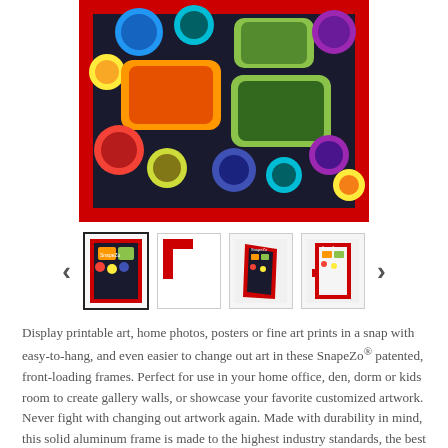[Figure (photo): A red picture frame containing colorful paint cans and lids viewed from above — orange, green, yellow, blue, red, purple — on a dark background.]
[Figure (screenshot): Thumbnail navigation row showing four product thumbnails of the red snap frame with left and right arrows for navigation. First thumbnail is selected.]
Display printable art, home photos, posters or fine art prints in a snap with easy-to-hang, and even easier to change out art in these SnapeZo® patented, front-loading frames. Perfect for use in your home office, den, dorm or kids room to create gallery walls, or showcase your favorite customized artwork. Never fight with changing out artwork again. Made with durability in mind, this solid aluminum frame is made to the highest industry standards, the best quality available at the lowest price.